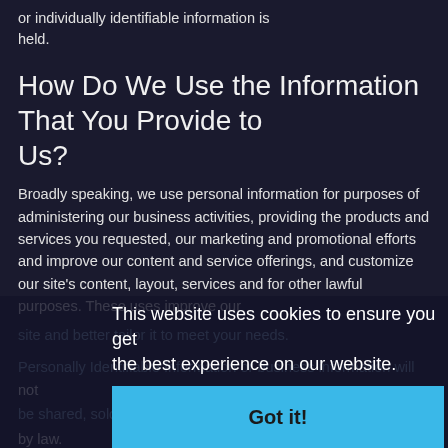or individually identifiable information is held.
How Do We Use the Information That You Provide to Us?
Broadly speaking, we use personal information for purposes of administering our business activities, providing the products and services you requested, our marketing and promotional efforts and improve our content and service offerings, and customize our site's content, layout, services and for other lawful purposes. These uses improve our site and better tailor it to meet your needs.
Personally Identifiable Information or business information will not be shared, sold, rented, or otherwise disclosed to unique by law.
What Are Cookies?
A cookie is a very small text document, which often includes an anonymous unique identifier. When you visit a web site, that site's
This website uses cookies to ensure you get the best experience on our website.
Got it!